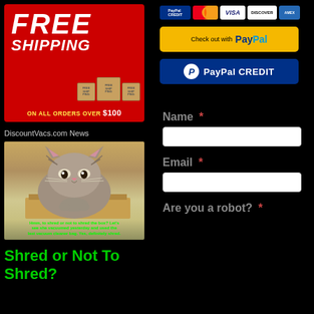[Figure (illustration): Free Shipping promotional banner on red background with shipping boxes. Text: FREE SHIPPING ON ALL ORDERS OVER $100]
[Figure (illustration): Payment method logos: PayPal Credit, MasterCard, VISA, Discover, American Express]
[Figure (illustration): PayPal checkout button - yellow button with 'Check out with PayPal']
[Figure (illustration): PayPal CREDIT button - blue button with PayPal P logo and 'PayPal CREDIT']
DiscountVacs.com News
[Figure (photo): Cat sitting in a cardboard box. Caption: 'Hmm, to shred or not to shred the box? Let's see she vacuumed yesterday and used the last vacuum cleaner bag. Yes, definitely shred.']
Shred or Not To Shred?
Name *
Email *
Are you a robot? *